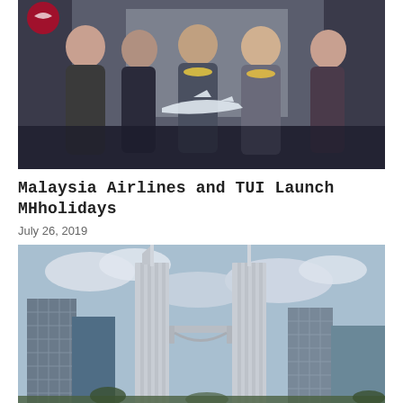[Figure (photo): Group photo of Malaysia Airlines cabin crew in batik uniforms and airline executives wearing flower leis, holding a model airplane at what appears to be a launch event.]
Malaysia Airlines and TUI Launch MHholidays
July 26, 2019
[Figure (photo): Low-angle view of the Petronas Twin Towers in Kuala Lumpur against a partly cloudy sky, surrounded by other skyscrapers.]